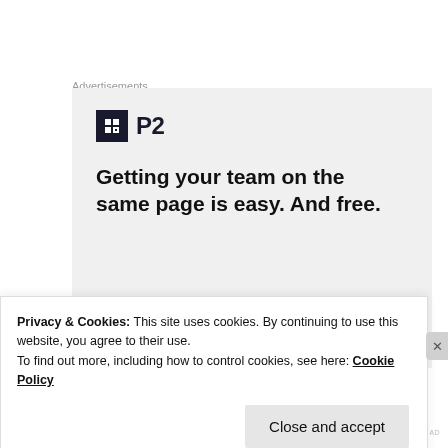Advertisements
[Figure (screenshot): P2 advertisement banner with logo, headline text 'Getting your team on the same page is easy. And free.' and four circular avatar photos at the bottom]
Privacy & Cookies: This site uses cookies. By continuing to use this website, you agree to their use.
To find out more, including how to control cookies, see here: Cookie Policy
Close and accept